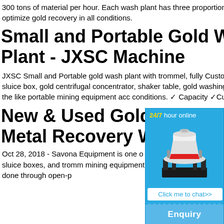300 tons of material per hour. Each wash plant has three proportionately sized sluice boxes designed to optimize gold recovery in all conditions.
Small and Portable Gold Wash Plant - JXSC Machine
JXSC Small and Portable gold wash plant with trommel, fully Customizable & moveable. Equip with the sluice box, gold centrifugal concentrator, shaker table, gold washing machine, vibrating feeders, vibrating and the like portable mining equipment acco conditions. ✓ Capacity ✓Customizable 1-300
New & Used Gold and Metal Recovery Wash
Oct 28, 2018 - Savona Equipment is one of suppliers of placer mining equipment includ plants, derockers, sluice boxes, and tromm mining equipment is used for the mining of minerals. This may be done through open-p
[Figure (infographic): Sidebar widget with blue background showing '24/7 hour online' header, a mining machine photo, a 'Click me to chat>>' button, an 'Enquiry' section, and username 'limingjlmofen']